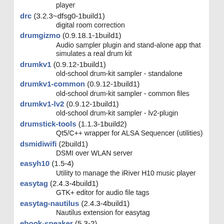player
drc (3.2.3~dfsg0-1build1)
digital room correction
drumgizmo (0.9.18.1-1build1)
Audio sampler plugin and stand-alone app that simulates a real drum kit
drumkv1 (0.9.12-1build1)
old-school drum-kit sampler - standalone
drumkv1-common (0.9.12-1build1)
old-school drum-kit sampler - common files
drumkv1-lv2 (0.9.12-1build1)
old-school drum-kit sampler - lv2-plugin
drumstick-tools (1.1.3-1build2)
Qt5/C++ wrapper for ALSA Sequencer (utilities)
dsmidiwifi (2build1)
DSMI over WLAN server
easyh10 (1.5-4)
Utility to manage the iRiver H10 music player
easytag (2.4.3-4build1)
GTK+ editor for audio file tags
easytag-nautilus (2.4.3-4build1)
Nautilus extension for easytag
ebook-speaker (5.3-2)
eBook reader that reads aloud in a synthetic voice
ebumeter (0.4.2-1build1)
loudness measurement according to EBU-R128